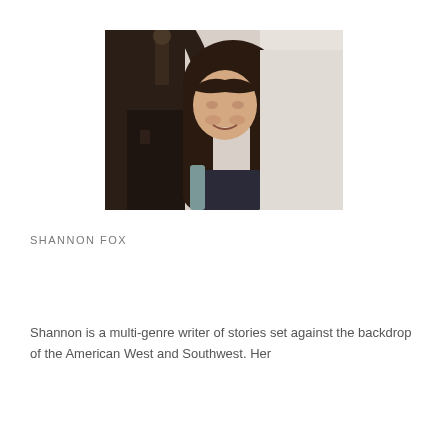[Figure (photo): Portrait photo of Shannon Fox, a woman with long dark wavy hair, smiling, leaning against a light wall, with dark architectural elements (gate or door) visible in the background.]
SHANNON FOX
Shannon is a multi-genre writer of stories set against the backdrop of the American West and Southwest. Her